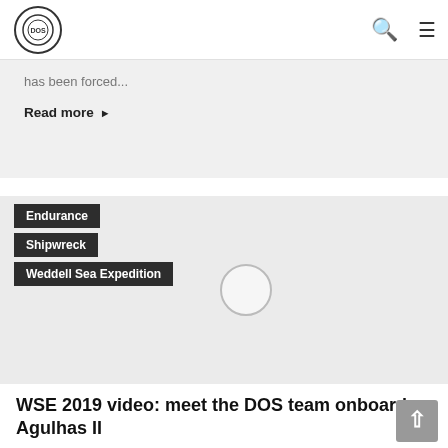Deep Ocean Search [logo with navigation icons: search, menu]
has been forced...
Read more ▶
[Figure (other): Gray image card with category tags: Endurance, Shipwreck, Weddell Sea Expedition, and a circular play button in the center]
WSE 2019 video: meet the DOS team onboard Agulhas II
4th February 2019